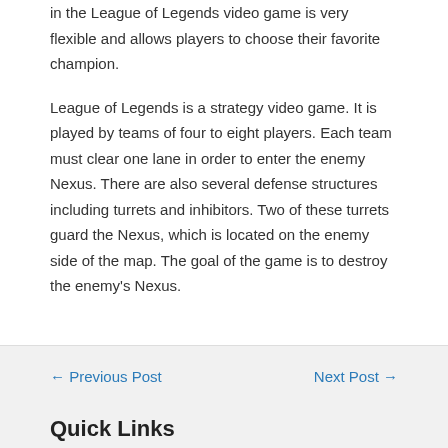in the League of Legends video game is very flexible and allows players to choose their favorite champion.
League of Legends is a strategy video game. It is played by teams of four to eight players. Each team must clear one lane in order to enter the enemy Nexus. There are also several defense structures including turrets and inhibitors. Two of these turrets guard the Nexus, which is located on the enemy side of the map. The goal of the game is to destroy the enemy's Nexus.
← Previous Post
Next Post →
Quick Links
Home
About Us